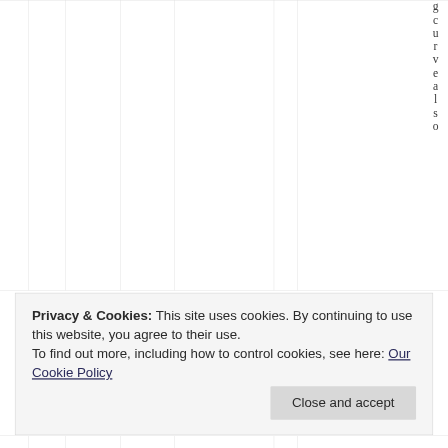[Figure (other): Partial view of a table or grid with vertical lines and rotated/vertical text characters spelling 'gcurvealso' reading downward on the right side]
Privacy & Cookies: This site uses cookies. By continuing to use this website, you agree to their use.
To find out more, including how to control cookies, see here: Our Cookie Policy
Close and accept